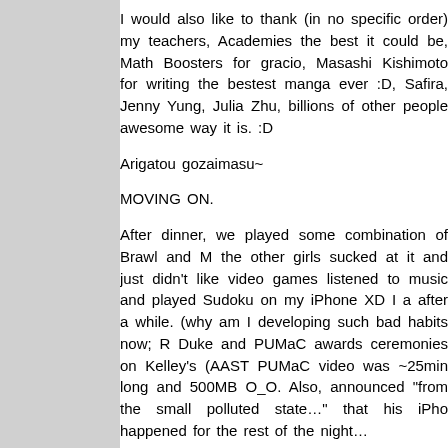I would also like to thank (in no specific order) my teachers, Academies the best it could be, Math Boosters for graciously, Masashi Kishimoto for writing the bestest manga ever :D, Safira, Jenny Yung, Julia Zhu, billions of other people, awesome way it is. :D
Arigatou gozaimasu~
MOVING ON.
After dinner, we played some combination of Brawl and M, the other girls sucked at it and just didn't like video games, listened to music and played Sudoku on my iPhone XD I a, after a while. (why am I developing such bad habits now; R, Duke and PUMaC awards ceremonies on Kelley's (AAST, PUMaC video was ~25min long and 500MB O_O. Also, announced "from the small polluted state..." that his iPho, happened for the rest of the night...
On Friday, I woke up and sat around for a while. Then my, of sales there were. I got a sweater from Aeropoatale, bu, vim maximized on the 27" iMac! 2560x1440 pixels of gl